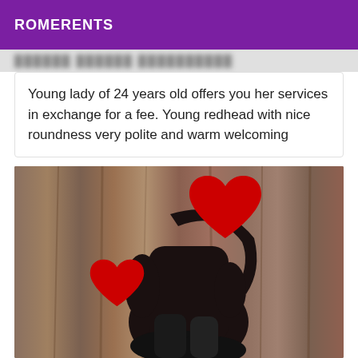ROMERENTS
Young lady of 24 years old offers you her services in exchange for a fee. Young redhead with nice roundness very polite and warm welcoming
[Figure (photo): Photo of a person dressed in black sitting, with red heart shapes covering the face and another body area for anonymization. Background shows wooden curtain panels.]